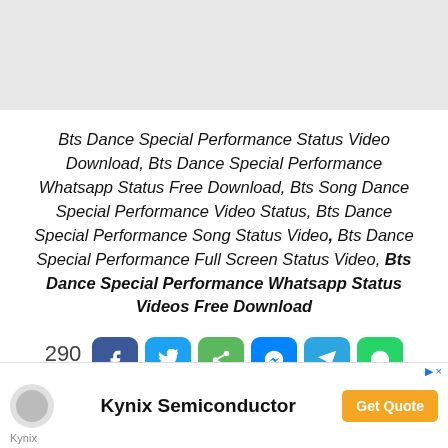Bts Dance Special Performance Status Video Download, Bts Dance Special Performance Whatsapp Status Free Download, Bts Song Dance Special Performance Video Status, Bts Dance Special Performance Song Status Video, Bts Dance Special Performance Full Screen Status Video, Bts Dance Special Performance Whatsapp Status Videos Free Download
290 Shares
[Close]
[Figure (infographic): Advertisement banner for Kynix Semiconductor with logo, title, and Get Quote button]